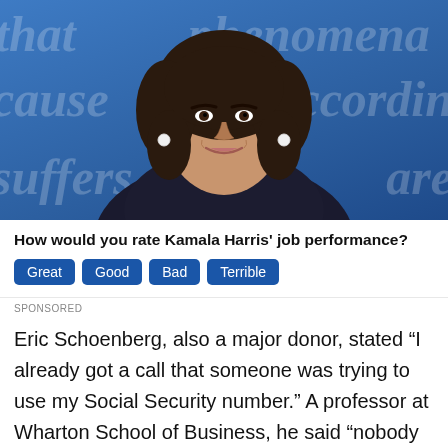[Figure (photo): Photo of Kamala Harris at a debate podium, with blue background featuring white italic text watermarks ('cause', 'according', 'suffers', 'are', etc.). She is wearing a dark blazer and pearl earrings, smiling.]
How would you rate Kamala Harris' job performance? Great | Good | Bad | Terrible
SPONSORED
Eric Schoenberg, also a major donor, stated “I already got a call that someone was trying to use my Social Security number.” A professor at Wharton School of Business, he said “nobody is safe” after a person tried